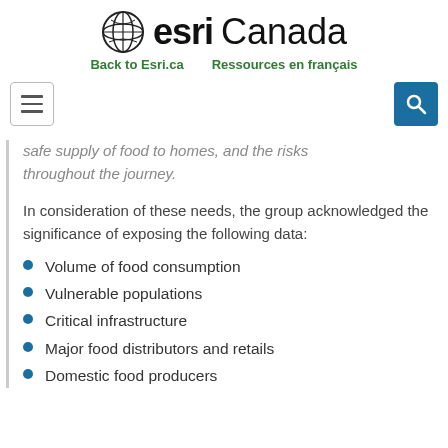esri Canada — Back to Esri.ca   Ressources en français
safe supply of food to homes, and the risks throughout the journey.
In consideration of these needs, the group acknowledged the significance of exposing the following data:
Volume of food consumption
Vulnerable populations
Critical infrastructure
Major food distributors and retails
Domestic food producers